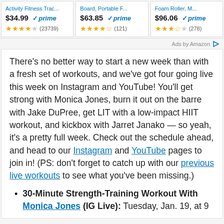[Figure (screenshot): Amazon ad row with three product cards: $34.99 prime with 4-star rating (23739 reviews), $63.85 prime with 4.5-star rating (121 reviews), $96.06 prime with 3.5-star rating (278 reviews)]
Ads by Amazon
There's no better way to start a new week than with a fresh set of workouts, and we've got four going live this week on Instagram and YouTube! You'll get strong with Monica Jones, burn it out on the barre with Jake DuPree, get LIT with a low-impact HIIT workout, and kickbox with Jarret Janako — so yeah, it's a pretty full week. Check out the schedule ahead, and head to our Instagram and YouTube pages to join in! (PS: don't forget to catch up with our previous live workouts to see what you've been missing.)
30-Minute Strength-Training Workout With Monica Jones (IG Live): Tuesday, Jan. 19, at 9